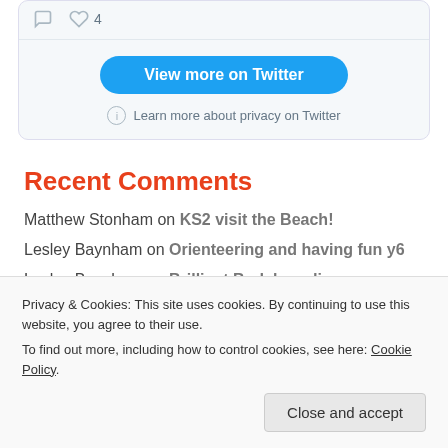[Figure (screenshot): Twitter widget showing tweet actions (comment and heart icons with count 4), a 'View more on Twitter' blue button, and a 'Learn more about privacy on Twitter' link with info icon.]
Recent Comments
Matthew Stonham on KS2 visit the Beach!
Lesley Baynham on Orienteering and having fun y6
Lesley Baynham on Brilliant Bodyboarding
Privacy & Cookies: This site uses cookies. By continuing to use this website, you agree to their use.
To find out more, including how to control cookies, see here: Cookie Policy
Close and accept